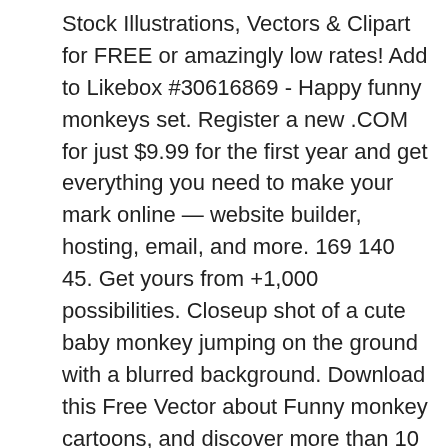Stock Illustrations, Vectors & Clipart for FREE or amazingly low rates! Add to Likebox #30616869 - Happy funny monkeys set. Register a new .COM for just $9.99 for the first year and get everything you need to make your mark online — website builder, hosting, email, and more. 169 140 45. Get yours from +1,000 possibilities. Closeup shot of a cute baby monkey jumping on the ground with a blurred background. Download this Free Vector about Funny monkey cartoons, and discover more than 10 Million Professional Graphic Resources on Freepik Thousands of new, high-quality pictures added ... Illustration of animal, chimp, monkey - 39159729 BBC host Danny Baker fired after tweet depicting royal baby as a monkey. Cute Funny Cartoon Baby Monkey Clip Art Images. Monkey set cute animal macaque monkeyish cartoon character of primate chimpanzee, gibbon and babbon monkeyshines illustration on white. Personalized baby clothes for your